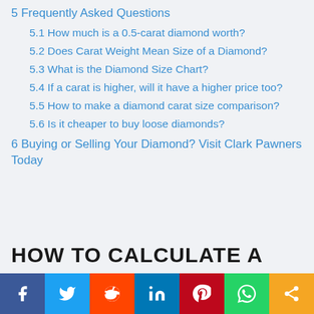5 Frequently Asked Questions
5.1 How much is a 0.5-carat diamond worth?
5.2 Does Carat Weight Mean Size of a Diamond?
5.3 What is the Diamond Size Chart?
5.4 If a carat is higher, will it have a higher price too?
5.5 How to make a diamond carat size comparison?
5.6 Is it cheaper to buy loose diamonds?
6 Buying or Selling Your Diamond? Visit Clark Pawners Today
HOW TO CALCULATE A